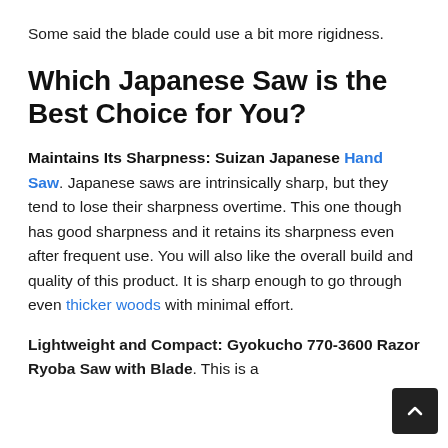Some said the blade could use a bit more rigidness.
Which Japanese Saw is the Best Choice for You?
Maintains Its Sharpness: Suizan Japanese Hand Saw. Japanese saws are intrinsically sharp, but they tend to lose their sharpness overtime. This one though has good sharpness and it retains its sharpness even after frequent use. You will also like the overall build and quality of this product. It is sharp enough to go through even thicker woods with minimal effort.
Lightweight and Compact: Gyokucho 770-3600 Razor Ryoba Saw with Blade. This is a